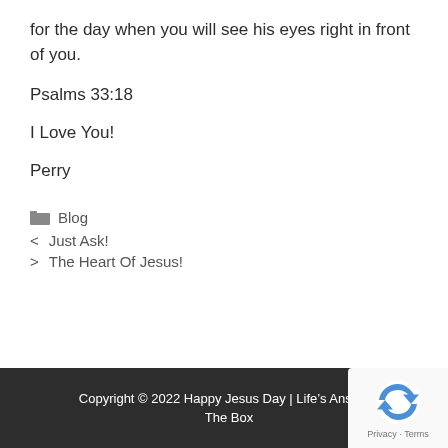for the day when you will see his eyes right in front of you.
Psalms 33:18
I Love You!
Perry
Blog
< Just Ask!
> The Heart Of Jesus!
Copyright © 2022 Happy Jesus Day | Life's Answers The Box